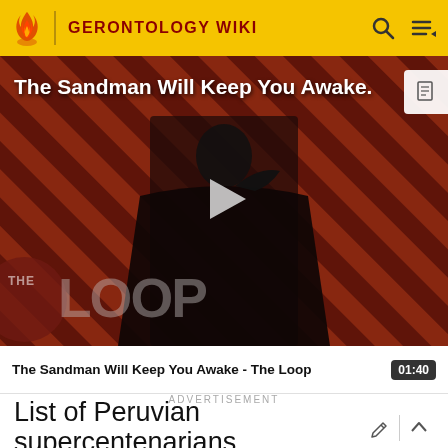GERONTOLOGY WIKI
[Figure (screenshot): Video thumbnail for 'The Sandman Will Keep You Awake - The Loop' showing a dark-clad figure against a red diagonal striped background with a play button overlay and 'THE LOOP' text at the bottom.]
The Sandman Will Keep You Awake - The Loop   01:40
ADVERTISEMENT
List of Peruvian supercentenarians